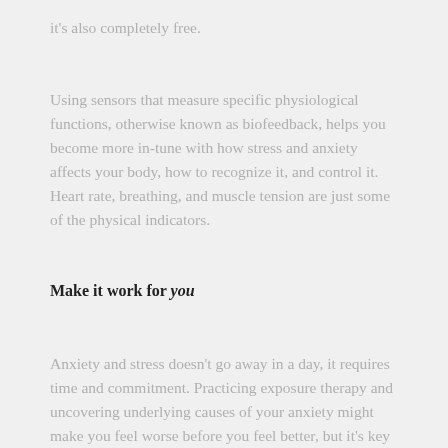it's also completely free.
Using sensors that measure specific physiological functions, otherwise known as biofeedback, helps you become more in-tune with how stress and anxiety affects your body, how to recognize it, and control it. Heart rate, breathing, and muscle tension are just some of the physical indicators.
Make it work for you
Anxiety and stress doesn't go away in a day, it requires time and commitment. Practicing exposure therapy and uncovering underlying causes of your anxiety might make you feel worse before you feel better, but it's key to